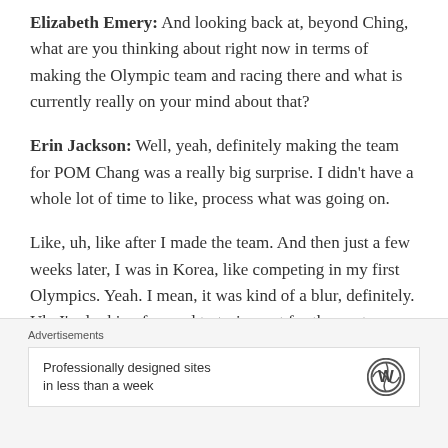Elizabeth Emery: And looking back at, beyond Ching, what are you thinking about right now in terms of making the Olympic team and racing there and what is currently really on your mind about that?
Erin Jackson: Well, yeah, definitely making the team for POM Chang was a really big surprise. I didn't have a whole lot of time to like, process what was going on.
Like, uh, like after I made the team. And then just a few weeks later, I was in Korea, like competing in my first Olympics. Yeah. I mean, it was kind of a blur, definitely. Uh, I'm looking forward to trying out for the next
Advertisements
Professionally designed sites in less than a week